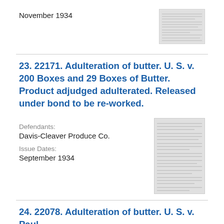November 1934
[Figure (screenshot): Thumbnail image of a document page]
23. 22171. Adulteration of butter. U. S. v. 200 Boxes and 29 Boxes of Butter. Product adjudged adulterated. Released under bond to be re-worked.
Defendants: Davis-Cleaver Produce Co.
Issue Dates: September 1934
[Figure (screenshot): Thumbnail image of a document page]
24. 22078. Adulteration of butter. U. S. v. Paul